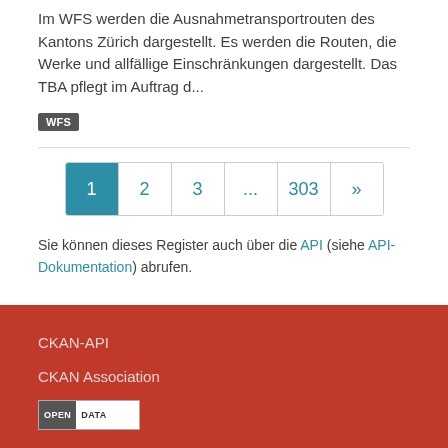Im WFS werden die Ausnahmetransportrouten des Kantons Zürich dargestellt. Es werden die Routen, die Werke und allfällige Einschränkungen dargestellt. Das TBA pflegt im Auftrag d...
WFS
1 2 3 ... 303 »
Sie können dieses Register auch über die API (siehe API-Dokumentation) abrufen.
CKAN-API
CKAN Association
[Figure (logo): OPEN DATA badge logo with dark left panel and white right panel]